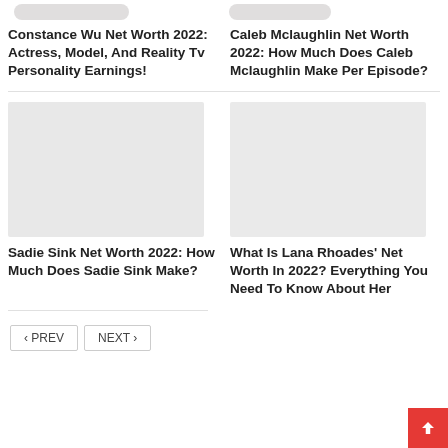Constance Wu Net Worth 2022: Actress, Model, And Reality Tv Personality Earnings!
Caleb Mclaughlin Net Worth 2022: How Much Does Caleb Mclaughlin Make Per Episode?
[Figure (photo): Placeholder image thumbnail for Sadie Sink article]
[Figure (photo): Placeholder image thumbnail for Lana Rhoades article]
Sadie Sink Net Worth 2022: How Much Does Sadie Sink Make?
What Is Lana Rhoades' Net Worth In 2022? Everything You Need To Know About Her